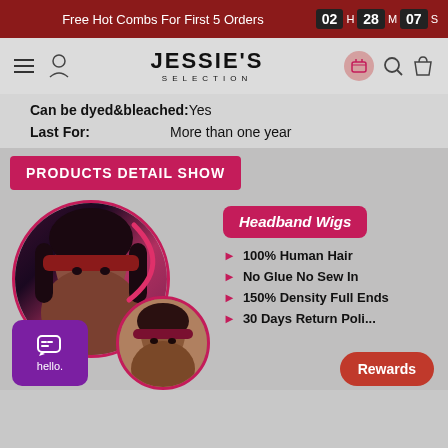Free Hot Combs For First 5 Orders  02 H  28 M  07 S
[Figure (logo): Jessie's Selection logo with hamburger menu, user icon, gift icon, search icon, and cart icon]
Can be dyed&bleached:  Yes
Last For:  More than one year
PRODUCTS DETAIL SHOW
[Figure (photo): Two circular photos of a woman wearing a curly headband wig; large photo on left shows full face/hair, smaller photo on right shows a close-up of the headband wig from slightly different angle. Pink arc design element between them.]
Headband Wigs
100% Human Hair
No Glue No Sew In
150% Density Full Ends
30 Days Return Poli...